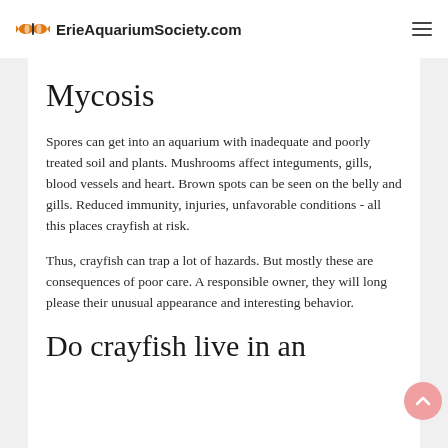ErieAquariumSociety.com
Mycosis
Spores can get into an aquarium with inadequate and poorly treated soil and plants. Mushrooms affect integuments, gills, blood vessels and heart. Brown spots can be seen on the belly and gills. Reduced immunity, injuries, unfavorable conditions - all this places crayfish at risk.
Thus, crayfish can trap a lot of hazards. But mostly these are consequences of poor care. A responsible owner, they will long please their unusual appearance and interesting behavior.
Do crayfish live in an